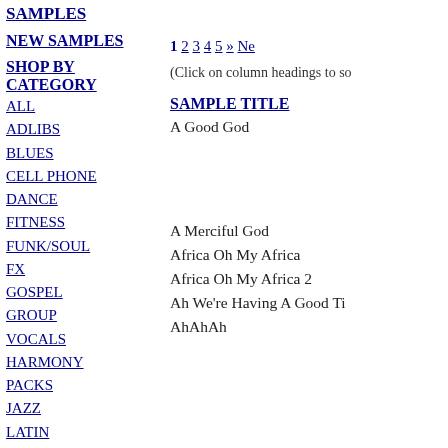SAMPLES
NEW SAMPLES
SHOP BY CATEGORY
ALL
ADLIBS
BLUES
CELL PHONE
DANCE
FITNESS
FUNK/SOUL
FX
GOSPEL
GROUP VOCALS
HARMONY PACKS
JAZZ
LATIN
LOOP PACKS
PHRASES
RAP
RNB
ROCK
VOCAL MINI
1 2 3 4 5 » Ne
(Click on column headings to so
SAMPLE TITLE
A Good God
A Merciful God
Africa Oh My Africa
Africa Oh My Africa 2
Ah We're Having A Good Ti
AhAhAh